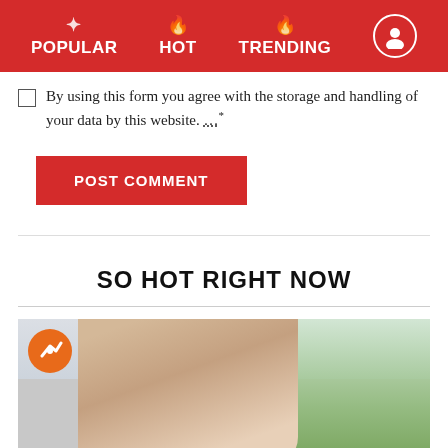POPULAR | HOT | TRENDING
By using this form you agree with the storage and handling of your data by this website. *
POST COMMENT
SO HOT RIGHT NOW
[Figure (photo): Woman in white top with wet hair outdoors near palm trees, water splashing]